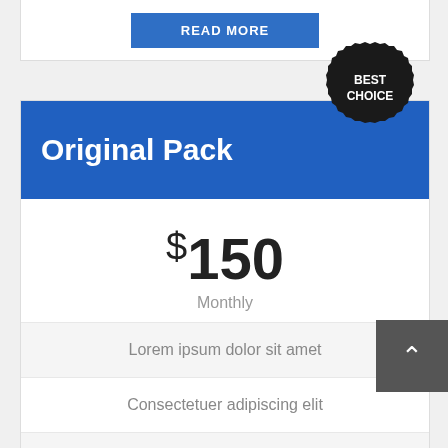[Figure (other): READ MORE button at top of card (partially visible)]
[Figure (other): Black starburst badge with text BEST CHOICE]
Original Pack
$150
Monthly
Lorem ipsum dolor sit amet
Consectetuer adipiscing elit
Sed diam nonummy nibh